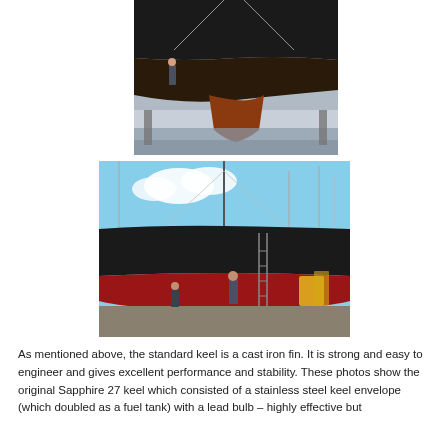[Figure (photo): Close-up photo of the underside of a sailboat hull showing the keel, taken at a boatyard. The hull is dark/black, the keel is reddish-brown, and the boat is out of the water on supports. Another person is visible in the background near other boats.]
[Figure (photo): Photo of a sailboat out of the water in a boatyard, showing its side profile. The hull is dark/black on top and red on the bottom antifouling section. Workers and ladders are visible near the boat. Masts and rigging visible.]
As mentioned above, the standard keel is a cast iron fin. It is strong and easy to engineer and gives excellent performance and stability. These photos show the original Sapphire 27 keel which consisted of a stainless steel keel envelope (which doubled as a fuel tank) with a lead bulb – highly effective but